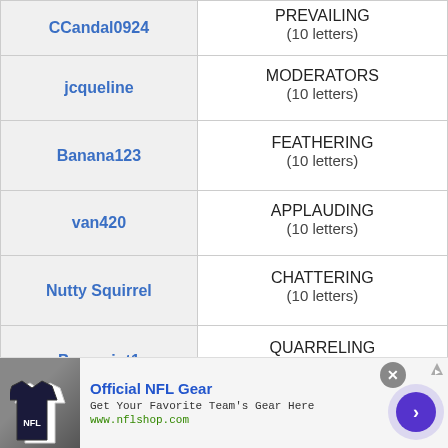| Username | Answer |
| --- | --- |
| CCandal0924 | PREVAILING
(10 letters) |
| jcqueline | MODERATORS
(10 letters) |
| Banana123 | FEATHERING
(10 letters) |
| van420 | APPLAUDING
(10 letters) |
| Nutty Squirrel | CHATTERING
(10 letters) |
| Pocomint1 | QUARRELING
(10 letters) |
[Figure (infographic): Advertisement banner for Official NFL Gear. Shows NFL jerseys image on left, text 'Official NFL Gear' as title, 'Get Your Favorite Team's Gear Here' as subtitle, 'www.nflshop.com' as URL. Has a close (X) button and a purple arrow button on the right.]